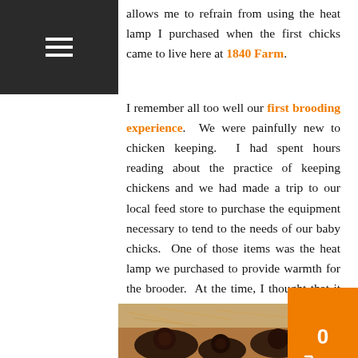allows me to refrain from using the heat lamp I purchased when the first chicks came to live here at 1840 Farm.
I remember all too well our first brooding experience. We were painfully new to chicken keeping. I had spent hours reading about the practice of keeping chickens and we had made a trip to our local feed store to purchase the equipment necessary to tend to the needs of our baby chicks. One of those items was the heat lamp we purchased to provide warmth for the brooder. At the time, I thought that it was my only option. It seemed that every article I read assumed that I would be using a heat lamp, so I did.
[Figure (photo): Photo of baby chicks on bedding/shavings, dark chicks visible from above]